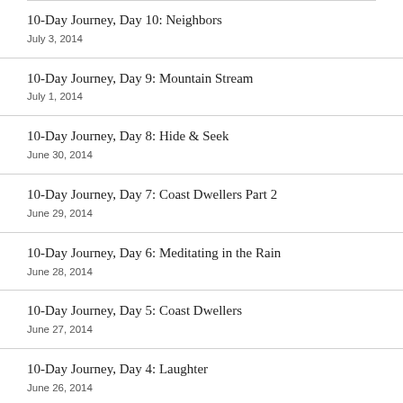10-Day Journey, Day 10: Neighbors
July 3, 2014
10-Day Journey, Day 9: Mountain Stream
July 1, 2014
10-Day Journey, Day 8: Hide & Seek
June 30, 2014
10-Day Journey, Day 7: Coast Dwellers Part 2
June 29, 2014
10-Day Journey, Day 6: Meditating in the Rain
June 28, 2014
10-Day Journey, Day 5: Coast Dwellers
June 27, 2014
10-Day Journey, Day 4: Laughter
June 26, 2014
10-Day Journey, Day 3: Remembering Background…